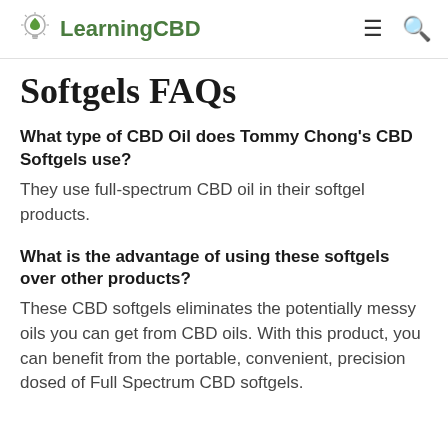LearningCBD
Softgels FAQs
What type of CBD Oil does Tommy Chong's CBD Softgels use?
They use full-spectrum CBD oil in their softgel products.
What is the advantage of using these softgels over other products?
These CBD softgels eliminates the potentially messy oils you can get from CBD oils. With this product, you can benefit from the portable, convenient, precision dosed of Full Spectrum CBD softgels.